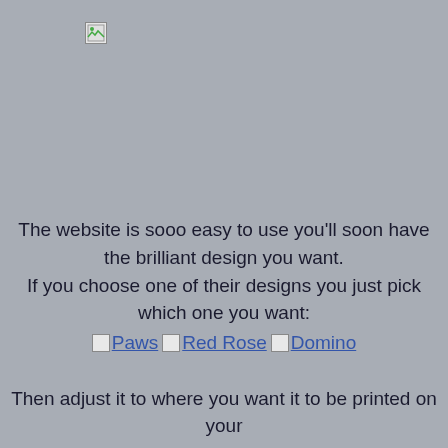[Figure (photo): Broken/missing image placeholder shown in upper left area of gray background page]
The website is sooo easy to use you'll soon have the brilliant design you want.
If you choose one of their designs you just pick which one you want:
[Paws] [Red Rose] [Domino]
Then adjust it to where you want it to be printed on your